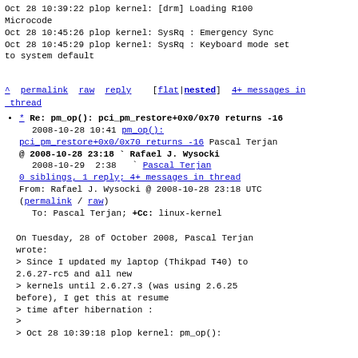Oct 28 10:39:22 plop kernel: [drm] Loading R100 Microcode
Oct 28 10:45:26 plop kernel: SysRq : Emergency Sync
Oct 28 10:45:29 plop kernel: SysRq : Keyboard mode set to system default
^ permalink raw reply   [flat|nested] 4+ messages in thread
* Re: pm_op(): pci_pm_restore+0x0/0x70 returns -16
2008-10-28 10:41 pm_op(): pci_pm_restore+0x0/0x70 returns -16 Pascal Terjan
@ 2008-10-28 23:18 ` Rafael J. Wysocki
2008-10-29  2:38   ` Pascal Terjan
0 siblings, 1 reply; 4+ messages in thread
From: Rafael J. Wysocki @ 2008-10-28 23:18 UTC (permalink / raw)
To: Pascal Terjan; +Cc: linux-kernel
On Tuesday, 28 of October 2008, Pascal Terjan wrote:
> Since I updated my laptop (Thikpad T40) to 2.6.27-rc5 and all new
> kernels until 2.6.27.3 (was using 2.6.25 before), I get this at resume
> time after hibernation :
>
> Oct 28 10:39:18 plop kernel: pm_op():